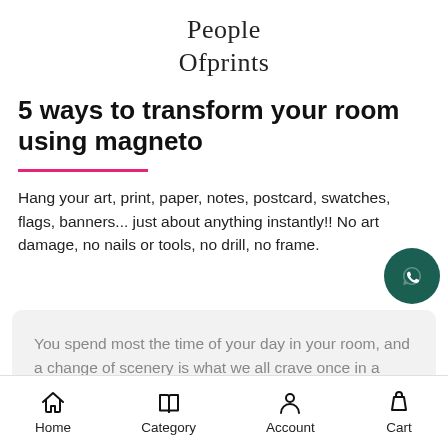People Ofprints
5 ways to transform your room using magneto
Hang your art, print, paper, notes, postcard, swatches, flags, banners... just about anything instantly!! No art damage, no nails or tools, no drill, no frame.
You spend most the time of your day in your room, and a change of scenery is what we all crave once in a while, read on if you're looking
Home | Category | Account | Cart